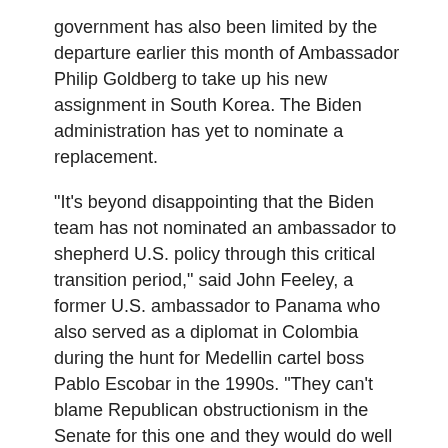government has also been limited by the departure earlier this month of Ambassador Philip Goldberg to take up his new assignment in South Korea. The Biden administration has yet to nominate a replacement.
“It’s beyond disappointing that the Biden team has not nominated an ambassador to shepherd U.S. policy through this critical transition period,” said John Feeley, a former U.S. ambassador to Panama who also served as a diplomat in Colombia during the hunt for Medellin cartel boss Pablo Escobar in the 1990s. “They can’t blame Republican obstructionism in the Senate for this one and they would do well to announce a nominee ASAP.”
Recommended
[Figure (photo): Photo of people at an outdoor event, a man in a dark suit visible]